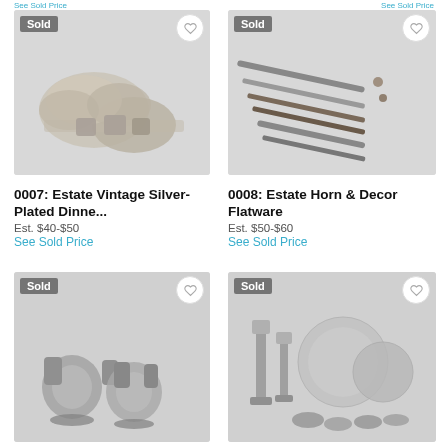[Figure (photo): Silver-plated dinnerware items including trays and small cups on white background, with Sold badge and heart icon]
[Figure (photo): Horn and decor flatware including knives and utensils laid out on white background, with Sold badge and heart icon]
0007: Estate Vintage Silver-Plated Dinne...
Est. $40-$50
See Sold Price
0008: Estate Horn & Decor Flatware
Est. $50-$60
See Sold Price
[Figure (photo): Silver decorative items including ornate handles and rings on white background, with Sold badge and heart icon]
[Figure (photo): Silver candlesticks, bowls, and plates on white background, with Sold badge and heart icon]